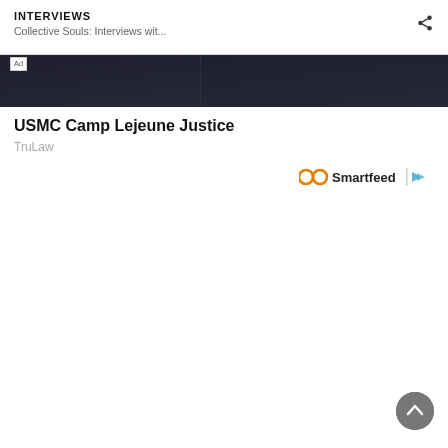INTERVIEWS
Collective Souls: Interviews wit...
[Figure (screenshot): Dark banner advertisement image strip]
Ad
USMC Camp Lejeune Justice
TruLaw
[Figure (logo): Smartfeed logo with infinity symbol and play button icon in orange]
[Figure (other): Back to top circular button with upward chevron arrow]